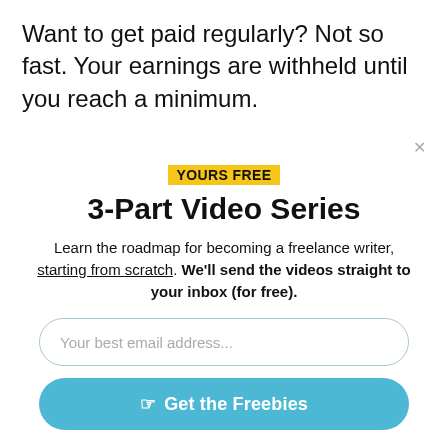Want to get paid regularly? Not so fast. Your earnings are withheld until you reach a minimum.
YOURS FREE
3-Part Video Series
Learn the roadmap for becoming a freelance writer, starting from scratch. We'll send the videos straight to your inbox (for free).
Your best email address...
☞ Get the Freebies